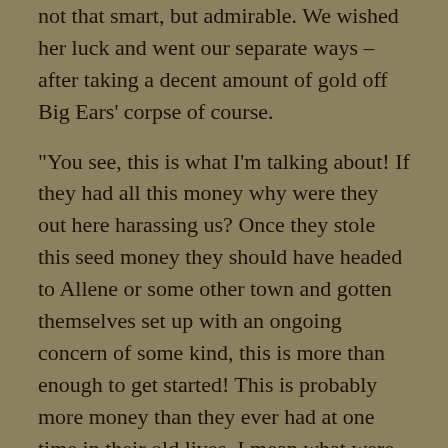not that smart, but admirable.  We wished her luck and went our separate ways – after taking a decent amount of gold off Big Ears' corpse of course.
“You see, this is what I’m talking about!  If they had all this money why were they out here harassing us?  Once they stole this seed money they should have headed to Allene or some other town and gotten themselves set up with an ongoing concern of some kind, this is more than enough to get started!  This is probably more money than they ever had at one time in their old lives, I mean what were they doing out here?”
“They were probably worried about being hung as traitors.”
“No one down there would know them, just get some